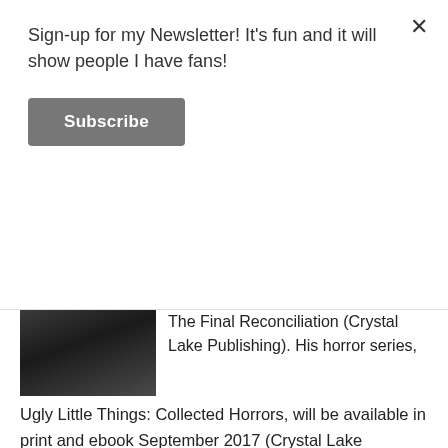Sign-up for my Newsletter! It's fun and it will show people I have fans!
Subscribe
The Final Reconciliation (Crystal Lake Publishing). His horror series, Ugly Little Things: Collected Horrors, will be available in print and ebook September 2017 (Crystal Lake Publishing) and he is currently working on two new novels, Spiders in the Lattice and Devil's Creek.
In his spare time, he hosts Awkward Conversations with Geeky Writers and Beneath the Lake on YouTube. He lives somewhere in the wilds of Pennsylvania with his wife, son, and trio of unruly cats.